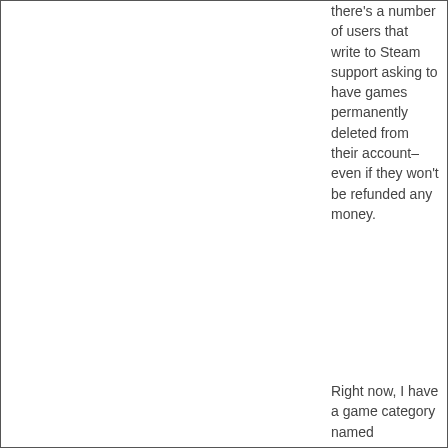there's a number of users that write to Steam support asking to have games permanently deleted from their account–even if they won't be refunded any money.
Right now, I have a game category named